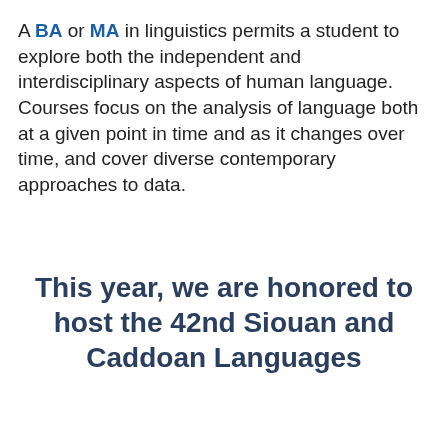A BA or MA in linguistics permits a student to explore both the independent and interdisciplinary aspects of human language. Courses focus on the analysis of language both at a given point in time and as it changes over time, and cover diverse contemporary approaches to data.
This year, we are honored to host the 42nd Siouan and Caddoan Languages